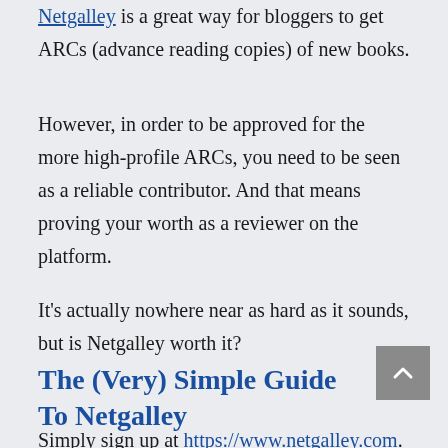Netgalley is a great way for bloggers to get ARCs (advance reading copies) of new books.
However, in order to be approved for the more high-profile ARCs, you need to be seen as a reliable contributor. And that means proving your worth as a reviewer on the platform.
It's actually nowhere near as hard as it sounds, but is Netgalley worth it?
The (Very) Simple Guide To Netgalley
Simply sign up at https://www.netgalley.com.